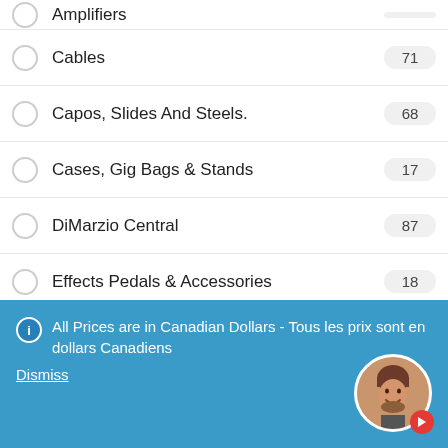Amplifiers
Cables — 71
Capos, Slides And Steels. — 68
Cases, Gig Bags & Stands — 17
DiMarzio Central — 87
Effects Pedals & Accessories — 18
Gruv Gear Fret Wraps — 7
Guitar & Electronics Care — 19
Guitars — 13
Hardware, Pickups, Parts — 236
Los Cabos Drumsticks — 7
Picks — 206
All Prices are in Canadian Dollars - Tous les prix sont en dollars Canadiens
Dismiss